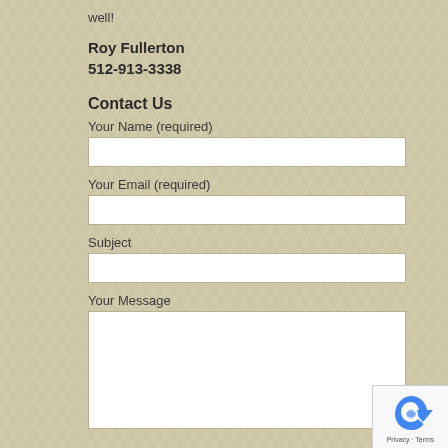well!
Roy Fullerton
512-913-3338
Contact Us
Your Name (required)
Your Email (required)
Subject
Your Message